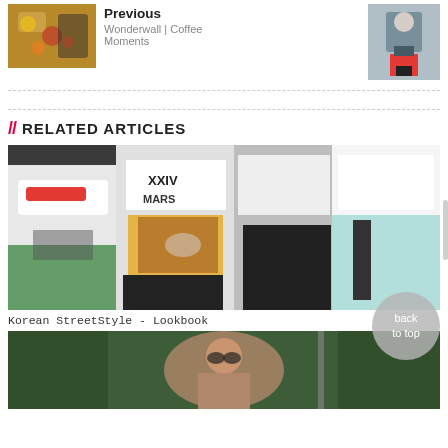[Figure (photo): Thumbnail photo of accessories/coffee items viewed from above]
Previous
Wonderwall | Coffee Moments
[Figure (photo): Thumbnail photo of woman in red pants standing on rooftop]
// RELATED ARTICLES
[Figure (photo): Photo of several young women in Korean street style fashion including Supreme hoodie, graphic tee, plaid shirt tied at waist]
Korean StreetStyle - Lookbook
[Figure (photo): Photo of woman with sunglasses in outdoor setting with trees]
back to top